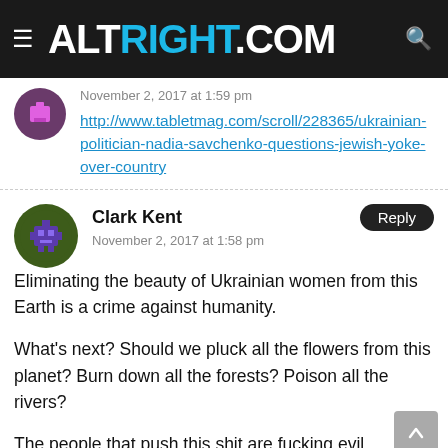ALTRIGHT.COM
November 2, 2017 at 1:59 pm
http://www.tabletmag.com/scroll/228365/ukrainian-politician-nadia-savchenko-questions-jewish-yoke-over-country
Clark Kent
November 2, 2017 at 1:58 pm
Eliminating the beauty of Ukrainian women from this Earth is a crime against humanity.

What's next? Should we pluck all the flowers from this planet? Burn down all the forests? Poison all the rivers?

The people that push this shit are fucking evil